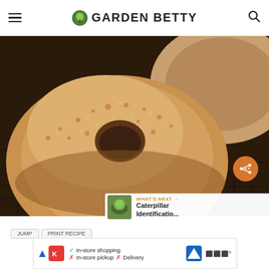Garden Betty
[Figure (photo): Close-up photo of a cinnamon-sugar coated baked donut resting on a wire cooling rack, with another donut partially visible in the background.]
WHAT'S NEXT → Caterpillar Identificatio...
In-store shopping
In-store pickup × Delivery